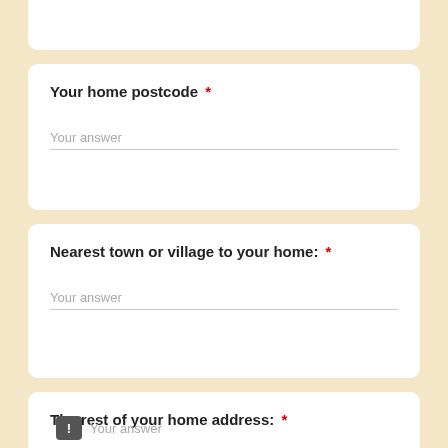(partial card top)
Your home postcode *
Your answer
Nearest town or village to your home: *
Your answer
The rest of your home address: *
Your answer